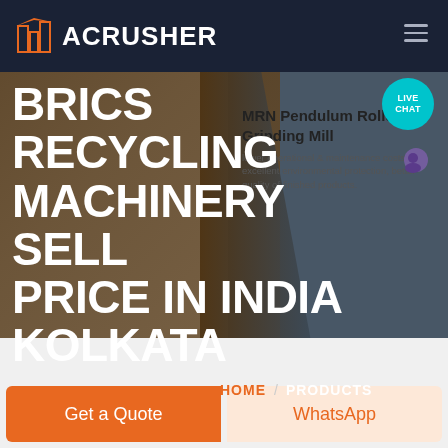ACRUSHER
BRICS RECYCLING MACHINERY SELL PRICE IN INDIA KOLKATA
MRN Pendulum Roller Grinding Mill
lower operational & maintenance costs, excellent environmental protection, better quality of finished products.
HOME / PRODUCTS
LIVE CHAT
Get a Quote
WhatsApp